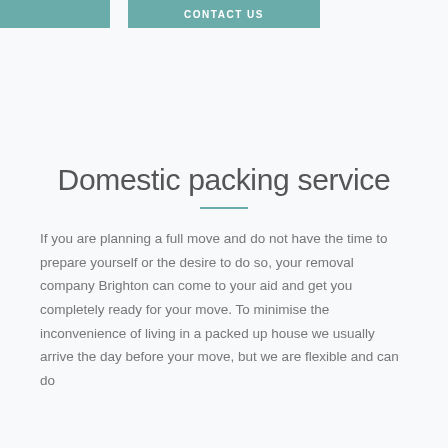CONTACT US
Domestic packing service
If you are planning a full move and do not have the time to prepare yourself or the desire to do so, your removal company Brighton can come to your aid and get you completely ready for your move. To minimise the inconvenience of living in a packed up house we usually arrive the day before your move, but we are flexible and can do